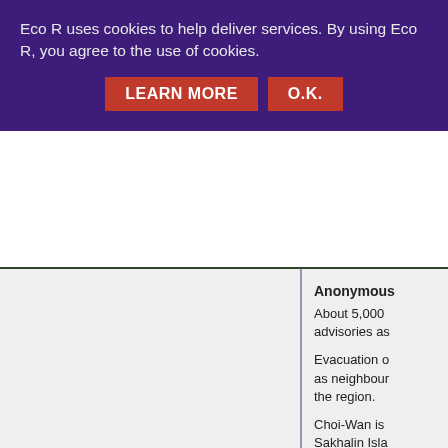Eco R uses cookies to help deliver services. By using Eco R, you agree to the use of cookies.
LEARN MORE   O.K.
Anonymous
About 5,000 advisories as
Evacuation o as neighbour the region.
Choi-Wan is Sakhalin Isla
The typhoon tropical as it sputniknews. 8/10/15